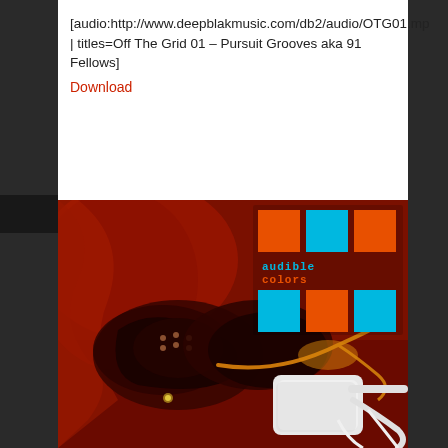[audio:http://www.deepblakmusic.com/db2/audio/OTG01.mp | titles=Off The Grid 01 – Pursuit Grooves aka 91 Fellows]
Download
[Figure (photo): Photo of sneakers/shoes on a dark red surface with white earphones/device, overlaid with the Audible Colors logo (orange, cyan, and orange squares in a 2x3 grid pattern with 'audiblecolors' text in pixel font)]